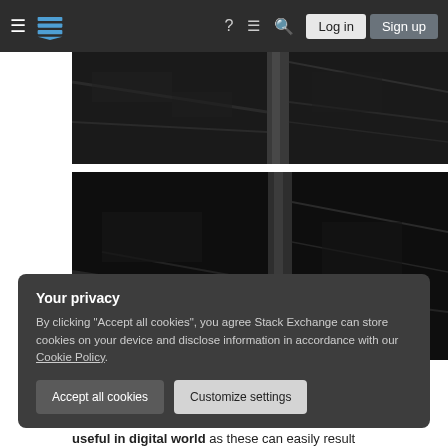Stack Exchange navigation bar with hamburger menu, logo, help, chat, search icons, Log in and Sign up buttons
[Figure (photo): Dark grayscale photo of tree branches and forest, first image panel]
[Figure (photo): Dark grayscale photo of tree trunk and branches in forest, second image panel]
Your privacy
By clicking "Accept all cookies", you agree Stack Exchange can store cookies on your device and disclose information in accordance with our Cookie Policy.
useful in digital world as these can easily result